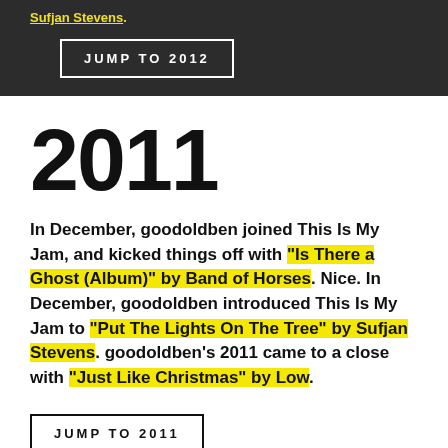Sufjan Stevens.
JUMP TO 2012
2011
In December, goodoldben joined This Is My Jam, and kicked things off with “Is There a Ghost (Album)” by Band of Horses. Nice. In December, goodoldben introduced This Is My Jam to “Put The Lights On The Tree” by Sufjan Stevens. goodoldben’s 2011 came to a close with “Just Like Christmas” by Low.
JUMP TO 2011